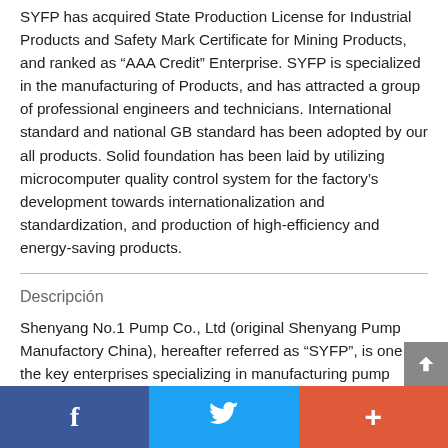SYFP has acquired State Production License for Industrial Products and Safety Mark Certificate for Mining Products, and ranked as “AAA Credit” Enterprise. SYFP is specialized in the manufacturing of Products, and has attracted a group of professional engineers and technicians. International standard and national GB standard has been adopted by our all products. Solid foundation has been laid by utilizing microcomputer quality control system for the factory’s development towards internationalization and standardization, and production of high-efficiency and energy-saving products.
Descripción
Shenyang No.1 Pump Co., Ltd (original Shenyang Pump Manufactory China), hereafter referred as “SYFP”, is one of the key enterprises specializing in manufacturing pump products. SYFP has acquired State Production License for Industrial Products and Safety Mark Certificate for Mining Products, and ranked as “AAA Credit” Enterprise. At the same time we have achieved the ISO9001:2000 Quality Management System
f  (Twitter bird)  +